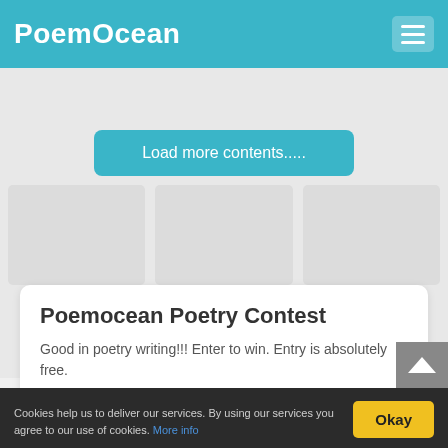PoemOcean
[Figure (screenshot): Blurred content area with a 'Load more contents.....' teal button and blurred card placeholders below]
Poemocean Poetry Contest
Good in poetry writing!!! Enter to win. Entry is absolutely free.
You can view contest entries at
Hindi Poetry Contest: March 2017
More info
Cookies help us to deliver our services. By using our services you agree to our use of cookies. More info  Okay